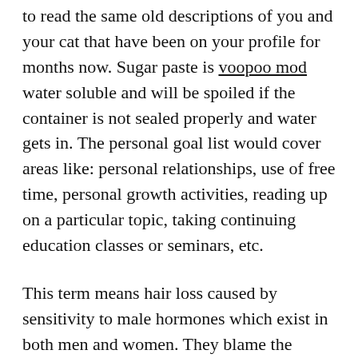to read the same old descriptions of you and your cat that have been on your profile for months now. Sugar paste is voopoo mod water soluble and will be spoiled if the container is not sealed properly and water gets in. The personal goal list would cover areas like: personal relationships, use of free time, personal growth activities, reading up on a particular topic, taking continuing education classes or seminars, etc.
This term means hair loss caused by sensitivity to male hormones which exist in both men and women. They blame the marketing department, team or an individual, for their lack of sales. The key is to work at finding this balance voopoo vape by studying other websites. Results: After 3 to 6 months, significant reduction in hair growth, in a few cases, permanent.